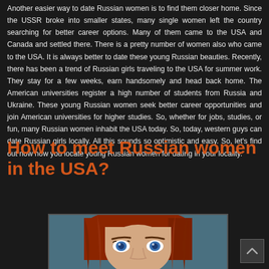Another easier way to date Russian women is to find them closer home. Since the USSR broke into smaller states, many single women left the country searching for better career options. Many of them came to the USA and Canada and settled there. There is a pretty number of women also who came to the USA. It is always better to date these young Russian beauties. Recently, there has been a trend of Russian girls traveling to the USA for summer work. They stay for a few weeks, earn handsomely and head back home. The American universities register a high number of students from Russia and Ukraine. These young Russian women seek better career opportunities and join American universities for higher studies. So, whether for jobs, studies, or fun, many Russian women inhabit the USA today. So, today, western guys can date Russian girls locally. All this sounds so optimistic and easy. So, let's find out now how you locate young Russian women for dating in your locality.
How to meet Russian women in the USA?
[Figure (photo): Close-up photo of a young woman with long red hair and blue eyes against a blue background]